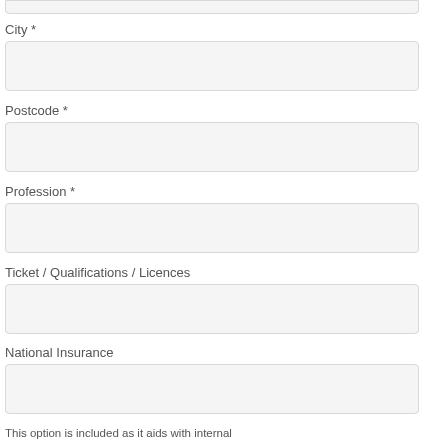[Figure (screenshot): Empty input field box at top of page (partial, cropped)]
City *
[Figure (screenshot): Empty input field for City]
Postcode *
[Figure (screenshot): Empty input field for Postcode]
Profession *
[Figure (screenshot): Empty input field for Profession]
Ticket / Qualifications / Licences
[Figure (screenshot): Empty input field for Ticket / Qualifications / Licences]
National Insurance
[Figure (screenshot): Empty input field for National Insurance]
This option is included as it aids with internal